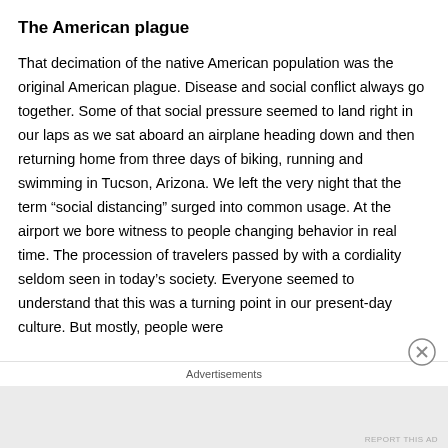The American plague
That decimation of the native American population was the original American plague. Disease and social conflict always go together. Some of that social pressure seemed to land right in our laps as we sat aboard an airplane heading down and then returning home from three days of biking, running and swimming in Tucson, Arizona. We left the very night that the term “social distancing” surged into common usage. At the airport we bore witness to people changing behavior in real time. The procession of travelers passed by with a cordiality seldom seen in today’s society. Everyone seemed to understand that this was a turning point in our present-day culture. But mostly, people were
Advertisements